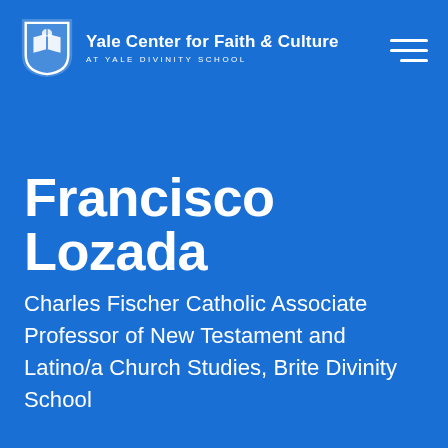[Figure (logo): Yale Center for Faith & Culture logo with shield icon and organization name]
Francisco Lozada
Charles Fischer Catholic Associate Professor of New Testament and Latino/a Church Studies, Brite Divinity School